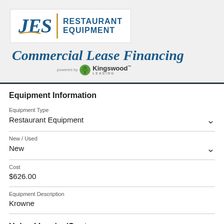[Figure (logo): JES Restaurant Equipment logo with orange arc underline and vertical divider, showing restaurant equipment text in blue]
Commercial Lease Financing
[Figure (logo): Kingswood Leasing logo - green tree icon with Kingswood Leasing text, powered by label]
Equipment Information
Equipment Type
Restaurant Equipment
New / Used
New
Cost
$626.00
Equipment Description
Krowne
Upload Invoice/Quote